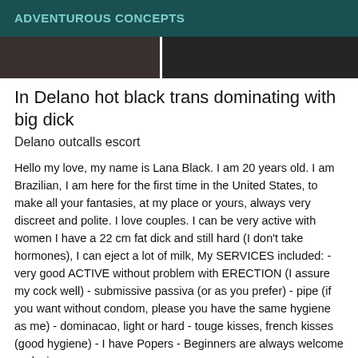ADVENTUROUS CONCEPTS
[Figure (photo): Two photographs side by side in a strip, dark colored images]
In Delano hot black trans dominating with big dick
Delano outcalls escort
Hello my love, my name is Lana Black. I am 20 years old. I am Brazilian, I am here for the first time in the United States, to make all your fantasies, at my place or yours, always very discreet and polite. I love couples. I can be very active with women I have a 22 cm fat dick and still hard (I don't take hormones), I can eject a lot of milk, My SERVICES included: - very good ACTIVE without problem with ERECTION (I assure my cock well) - submissive passiva (or as you prefer) - pipe (if you want without condom, please you have the same hygiene as me) - dominacao, light or hard - touge kisses, french kisses (good hygiene) - I have Popers - Beginners are always welcome - relaxing massage -